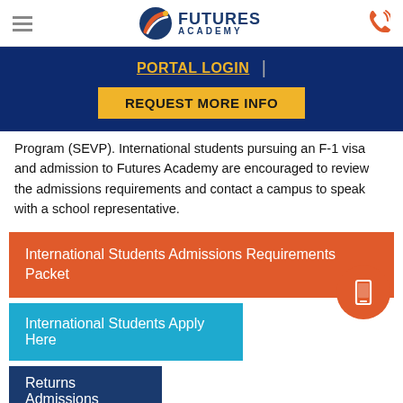Futures Academy
PORTAL LOGIN
REQUEST MORE INFO
Program (SEVP). International students pursuing an F-1 visa and admission to Futures Academy are encouraged to review the admissions requirements and contact a campus to speak with a school representative.
International Students Admissions Requirements Packet
International Students Apply Here
Returns Admissions